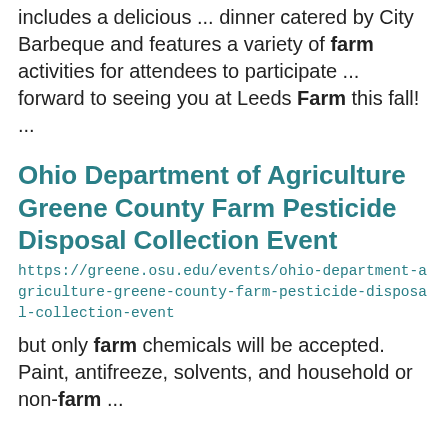includes a delicious ... dinner catered by City Barbeque and features a variety of farm activities for attendees to participate ... forward to seeing you at Leeds Farm this fall! ...
Ohio Department of Agriculture Greene County Farm Pesticide Disposal Collection Event
https://greene.osu.edu/events/ohio-department-agriculture-greene-county-farm-pesticide-disposal-collection-event
but only farm chemicals will be accepted. Paint, antifreeze, solvents, and household or non-farm ...